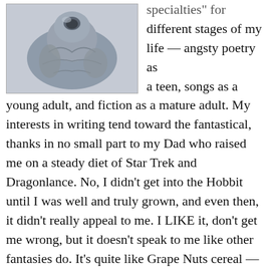[Figure (photo): A grey stone or clay sculpture resembling a seated figure or rock formation, photographed against a light background.]
specialties for different stages of my life — angsty poetry as a teen, songs as a young adult, and fiction as a mature adult. My interests in writing tend toward the fantastical, thanks in no small part to my Dad who raised me on a steady diet of Star Trek and Dragonlance. No, I didn't get into the Hobbit until I was well and truly grown, and even then, it didn't really appeal to me. I LIKE it, don't get me wrong, but it doesn't speak to me like other fantasies do. It's quite like Grape Nuts cereal — hard to chew for an interesting yet unimpressive flavor and it settles thickly in your stomach. I guess that's the price you pay for being the first in a field.